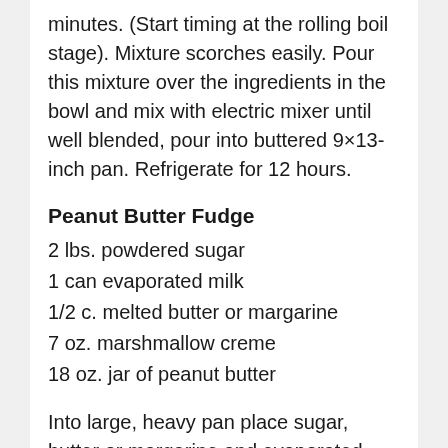minutes. (Start timing at the rolling boil stage). Mixture scorches easily. Pour this mixture over the ingredients in the bowl and mix with electric mixer until well blended, pour into buttered 9×13-inch pan. Refrigerate for 12 hours.
Peanut Butter Fudge
2 lbs. powdered sugar
1 can evaporated milk
1/2 c. melted butter or margarine
7 oz. marshmallow creme
18 oz. jar of peanut butter
Into large, heavy pan place sugar, butter or margarine and evaporated milk, cook over medium heat, stirring constantly until